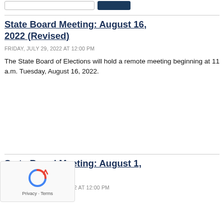[Figure (screenshot): Top bar with a text input field and a dark navy button, partially visible at top of page]
State Board Meeting: August 16, 2022 (Revised)
FRIDAY, JULY 29, 2022 AT 12:00 PM
The State Board of Elections will hold a remote meeting beginning at 11 a.m. Tuesday, August 16, 2022.
State Board Meeting: August 1, 2022
WEDNESDAY, JULY 20, 2022 AT 12:00 PM